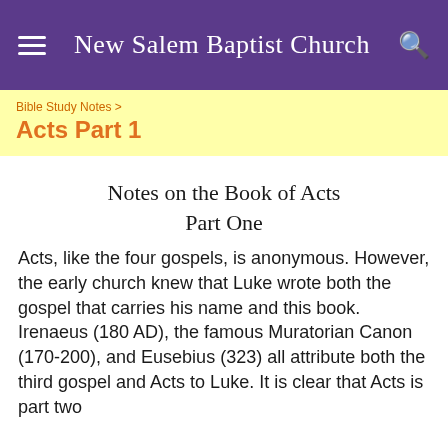New Salem Baptist Church
Bible Study Notes > Acts Part 1
Notes on the Book of Acts
Part One
Acts, like the four gospels, is anonymous. However, the early church knew that Luke wrote both the gospel that carries his name and this book. Irenaeus (180 AD), the famous Muratorian Canon (170-200), and Eusebius (323) all attribute both the third gospel and Acts to Luke. It is clear that Acts is part two